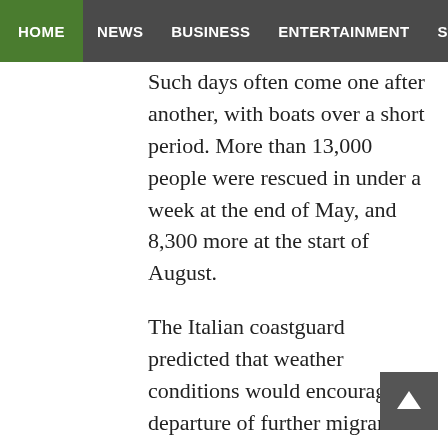HOME | NEWS | BUSINESS | ENTERTAINMENT | SPORT
Such days often come one after another, with boats over a short period. More than 13,000 people were rescued in under a week at the end of May, and 8,300 more at the start of August.
The Italian coastguard predicted that weather conditions would encourage the departure of further migrant boats Tuesday.
The vessels are often flimsy and overcrowded while some of the migrants set off in such poor health that even if the crossing is calm they cannot survive a day at sea.
There are around a dozen vessels run